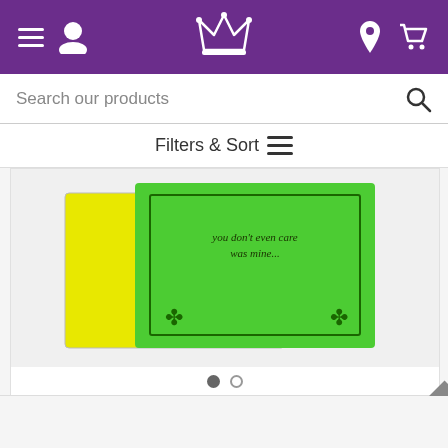Navigation bar with menu, user, crown logo, location, and cart icons
Search our products
Filters & Sort
[Figure (photo): Green and yellow St. Patrick's Day greeting card with shamrock decorations and text 'was mine...']
ADD TO CART
$2.00
Lucky to Find You to Love St. Patrick's Day Car...